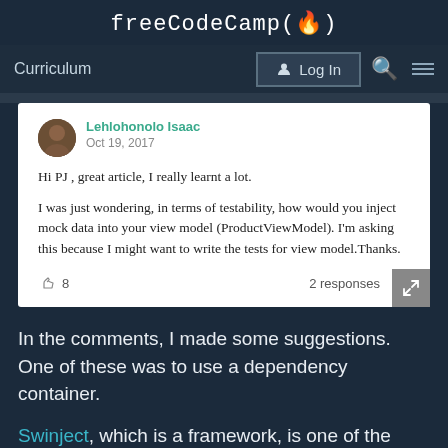freeCodeCamp(🔥)
Curriculum  Log In
[Figure (screenshot): Comment card from Lehlohonolo Isaac dated Oct 19, 2017. Text: 'Hi PJ , great article, I really learnt a lot. I was just wondering, in terms of testability, how would you inject mock data into your view model (ProductViewModel). I'm asking this because I might want to write the tests for view model.Thanks.' Footer shows 8 claps and 2 responses.]
In the comments, I made some suggestions. One of these was to use a dependency container.
Swinject, which is a framework, is one of the dependency injection frameworks out there that implements a dependency container pattern.